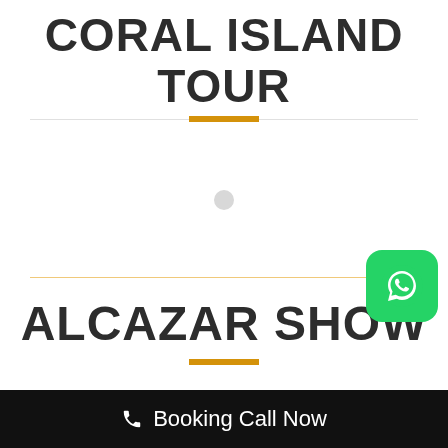CORAL ISLAND TOUR
[Figure (photo): Photo area placeholder with a light circular indicator dot in the center]
ALCAZAR SHOW
Booking Call Now